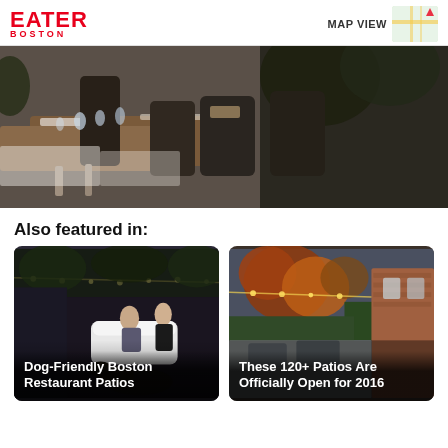EATER BOSTON | MAP VIEW
[Figure (photo): Outdoor restaurant patio with dark wicker chairs and set tables with glassware, lush greenery in background]
Also featured in:
[Figure (photo): Dog-friendly Boston restaurant patio at night with string lights, white lounge furniture, and a dog in the foreground]
Dog-Friendly Boston Restaurant Patios
[Figure (photo): Outdoor patio with string lights, brick building, and colorful autumn trees]
These 120+ Patios Are Officially Open for 2016